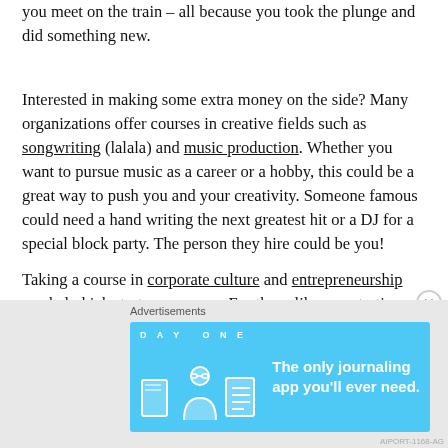you meet on the train – all because you took the plunge and did something new.
Interested in making some extra money on the side? Many organizations offer courses in creative fields such as songwriting (lalala) and music production. Whether you want to pursue music as a career or a hobby, this could be a great way to push you and your creativity. Someone famous could need a hand writing the next greatest hit or a DJ for a special block party. The person they hire could be you!
Taking a course in corporate culture and entrepreneurship can help kick start your career. For those like me, starting their own business and trying to promote themselves as an independent brand, we need to understand what companies
[Figure (infographic): Advertisement banner for DAY ONE journaling app on a light blue background with icons and text 'The only journaling app you'll ever need.']